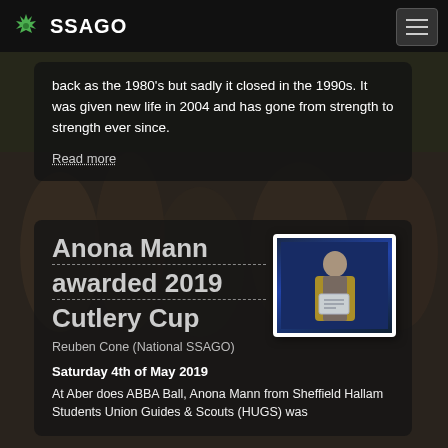SSAGO
back as the 1980's but sadly it closed in the 1990s. It was given new life in 2004 and has gone from strength to strength ever since.
Read more
Anona Mann awarded 2019 Cutlery Cup
[Figure (photo): Photo of a person holding a certificate, wearing a yellow sash, at an event with blue lighting in the background]
Reuben Cone (National SSAGO)
Saturday 4th of May 2019
At Aber does ABBA Ball, Anona Mann from Sheffield Hallam Students Union Guides & Scouts (HUGS) was